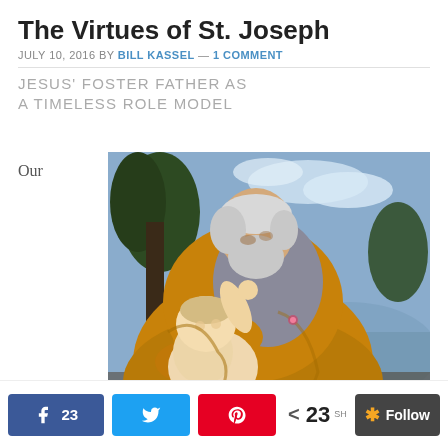The Virtues of St. Joseph
JULY 10, 2016 BY BILL KASSEL — 1 COMMENT
JESUS' FOSTER FATHER AS A TIMELESS ROLE MODEL
Our
[Figure (illustration): Classical oil painting of St. Joseph, an elderly bearded man with grey hair wearing a golden/ochre robe, tenderly holding the infant Jesus who reaches up toward his face. Background shows trees and a blue sky with clouds and distant landscape.]
23  [Facebook share button]  [Twitter share button]  [Pinterest share button]  < 23 SH  Follow